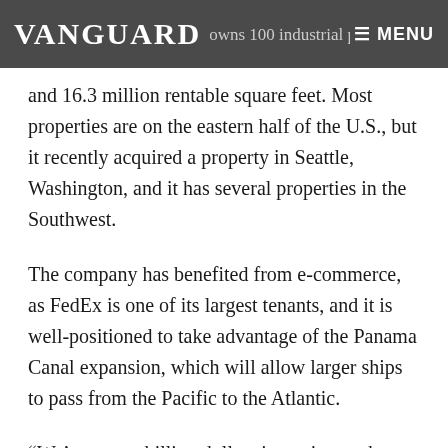VANGUARD ... owns 100 industrial properties and 16.3 million rentable square feet. Most properties are on the eastern half of the U.S., but it recently acquired a property in Seattle, Washington, and it has several properties in the Southwest.
owns 100 industrial properties and 16.3 million rentable square feet. Most properties are on the eastern half of the U.S., but it recently acquired a property in Seattle, Washington, and it has several properties in the Southwest.
The company has benefited from e-commerce, as FedEx is one of its largest tenants, and it is well-positioned to take advantage of the Panama Canal expansion, which will allow larger ships to pass from the Pacific to the Atlantic.
“We’re over a billion dollars in equity market cap, and we’ve reached so many important